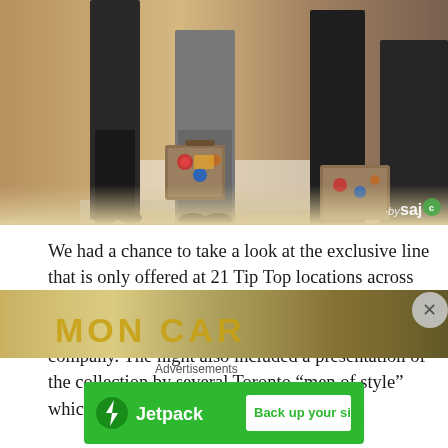[Figure (photo): Photo of suited mannequins or models with vintage luggage/suitcases in a retail store setting. A saj logo watermark appears in the bottom right corner.]
We had a chance to take a look at the exclusive line that is only offered at 21 Tip Top locations across the country and to meet with designer Simon Carter to discuss his designs and future plans for his company. The night also included a presentation of the collection by several Toronto “men of style” which showcased the clothing.
[Figure (photo): Partial photo showing text that reads 'SIMON CAR' (partial, cut off) with golden/yellow lettering on a dark background.]
Advertisements
[Figure (other): Jetpack advertisement banner with green background showing Jetpack logo and 'Back up your site' button.]